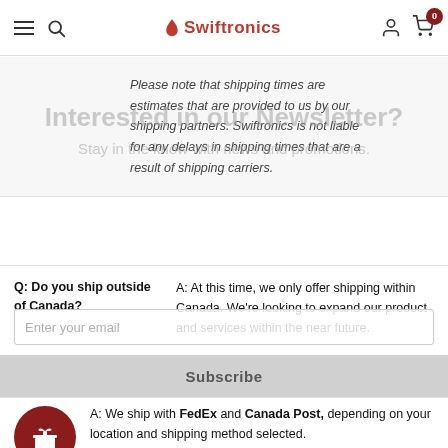Swiftronics — navigation bar with hamburger, search, logo, account, cart (0)
Please note that shipping times are estimates that are provided to us by our shipping partners. Swiftronics is not liable for any delays in shipping times that are a result of shipping carriers.
Interested in our Newsletter?
Stay in the know with news and promotions.
Enter your email
Subscribe
Q: Do you ship outside of Canada?
A: At this time, we only offer shipping within Canada. We're looking to expand our product and services within the near future.
[Figure (illustration): Dark red circle with gift box icon (white)]
Q: Who do you
A: We ship with FedEx and Canada Post, depending on your location and shipping method selected.